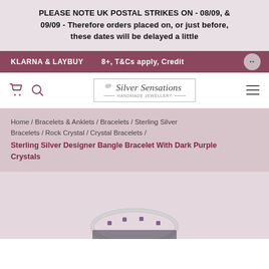PLEASE NOTE UK POSTAL STRIKES ON - 08/09, & 09/09 - Therefore orders placed on, or just before, these dates will be delayed a little
KLARNA & LAYBUY   8+, T&Cs apply, Credit
[Figure (logo): Silver Sensations Handmade Jewellery logo inside a bordered box with a small bird illustration]
Home / Bracelets & Anklets / Bracelets / Sterling Silver Bracelets / Rock Crystal / Crystal Bracelets / Sterling Silver Designer Bangle Bracelet With Dark Purple Crystals
[Figure (photo): Partial view of a sterling silver designer bangle bracelet with dark purple crystals at bottom of page]